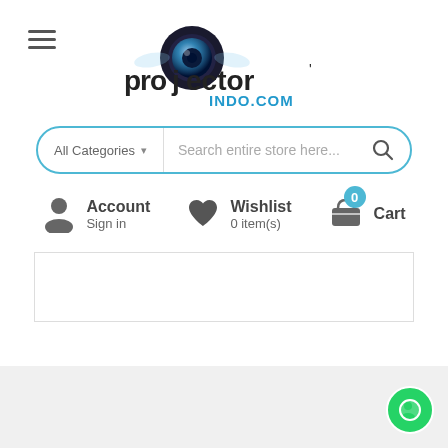[Figure (logo): ProjectorIndo.com logo with lens/camera icon and stylized text 'projector' in black with 'INDO.COM' in blue]
[Figure (infographic): Navigation header with hamburger menu, search bar with All Categories dropdown and search icon, Account/Sign in, Wishlist 0 item(s), and Cart 0 icons]
All Categories
Search entire store here...
Account Sign in
Wishlist 0 item(s)
Cart